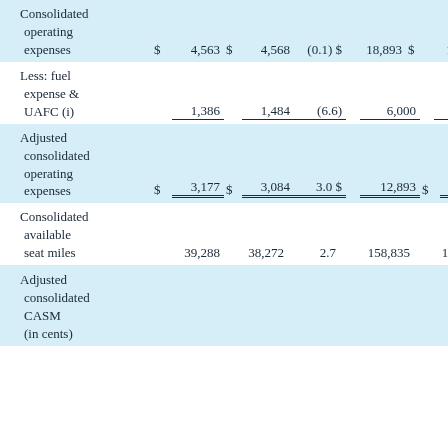|  | $ |  | $ |  | % Chg | $ |  | $ |  |  |
| --- | --- | --- | --- | --- | --- | --- | --- | --- | --- | --- |
| Consolidated operating expenses | $ | 4,563 | $ | 4,568 | (0.1) | $ | 18,893 | $ | 17,598 | 7 |
| Less: fuel expense & UAFC (i) |  | 1,386 |  | 1,484 | (6.6) |  | 6,000 |  | 5,077 | 18 |
| Adjusted consolidated operating expenses | $ | 3,177 | $ | 3,084 | 3.0 | $ | 12,893 | $ | 12,521 | 3 |
| Consolidated available seat miles |  | 39,288 |  | 38,272 | 2.7 |  | 158,835 |  | 154,681 | 2 |
| Adjusted consolidated CASM (in cents) |  |  |  |  |  |  |  |  |  |  |